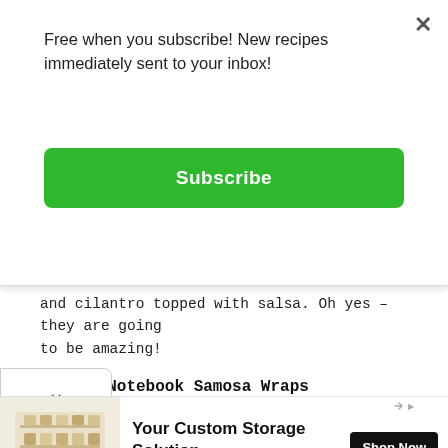Free when you subscribe! New recipes immediately sent to your inbox!
Subscribe
and cilantro topped with salsa. Oh yes – they are going to be amazing!
Nutmeg Notebook Samosa Wraps
8 ounces Yukon Gold potatoes, unpeeled, diced in 1/4 inch pieces
8 ounces sweet potatoes, peeled, diced in 1/4 inch
[Figure (other): Advertisement: Your Custom Storage Solution by Vertical Spice, with Shop Now button and spice rack image]